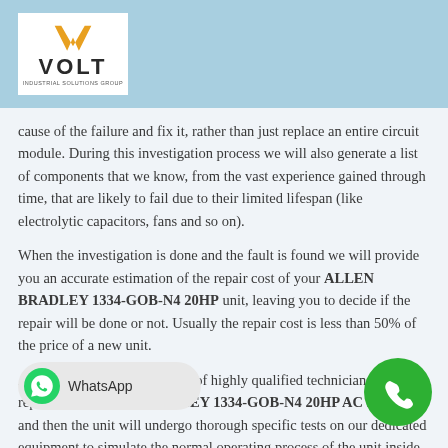[Figure (logo): VOLT Industrial Solutions Group logo — white V checkmark icon above VOLT text in bold, with small tagline below]
cause of the failure and fix it, rather than just replace an entire circuit module. During this investigation process we will also generate a list of components that we know, from the vast experience gained through time, that are likely to fail due to their limited lifespan (like electrolytic capacitors, fans and so on).
When the investigation is done and the fault is found we will provide you an accurate estimation of the repair cost of your ALLEN BRADLEY 1334-GOB-N4 20HP unit, leaving you to decide if the repair will be done or not. Usually the repair cost is less than 50% of the price of a new unit.
After your approval, our team of highly qualified technicians will repair your ALLEN BRADLEY 1334-GOB-N4 20HP AC DRIVE and then the unit will undergo thorough specific tests on our dedicated equipment to simulate the normal operating process of the unit inside your